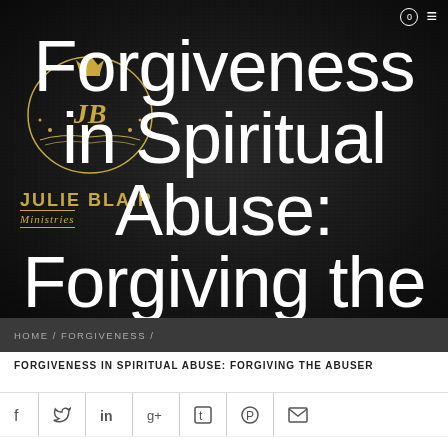[Figure (logo): Julie Blair Ministries logo with crown and JB emblem in gold on dark background]
Forgiveness in Spiritual Abuse: Forgiving the Abuser
HOME / FORGIVENESS /
FORGIVENESS IN SPIRITUAL ABUSE: FORGIVING THE ABUSER
[Figure (other): Social sharing icons: Facebook, Twitter, LinkedIn, Google+, Tumblr, Pinterest, Email]